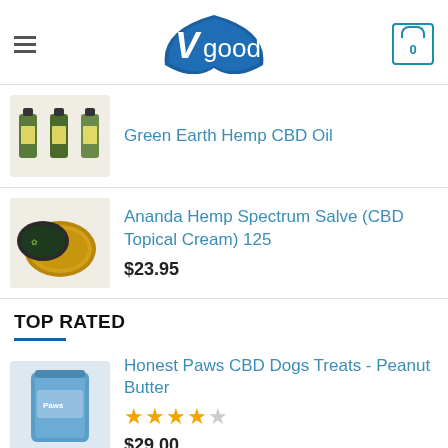Vgood — navigation header with hamburger menu, Vgood logo, and cart (0)
Green Earth Hemp CBD Oil
Ananda Hemp Spectrum Salve (CBD Topical Cream) 125
$23.95
TOP RATED
Honest Paws CBD Dogs Treats - Peanut Butter
★★★★☆
$29.00
Medterra CBD Tincture
$44.95